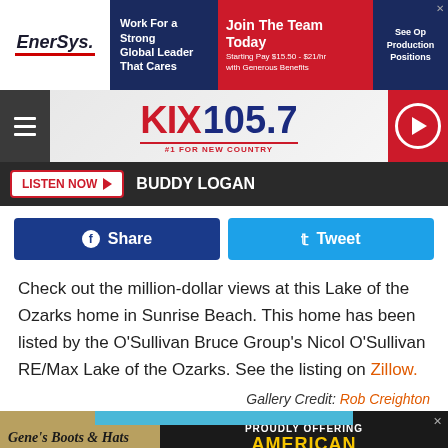[Figure (screenshot): EnerSys advertisement banner: Work For a Strong Global Leader That Cares - Join The Team Today Starting Pay $15.50-$21/hr with Generous Benefits - See Open Production Positions]
[Figure (logo): KIX 105.7 #1 For New Country radio station logo with hamburger menu and play button]
LISTEN NOW ▶  BUDDY LOGAN
[Figure (screenshot): Social share buttons: Facebook Share and Twitter Tweet]
Check out the million-dollar views at this Lake of the Ozarks home in Sunrise Beach. This home has been listed by the O'Sullivan Bruce Group's Nicol O'Sullivan RE/Max Lake of the Ozarks. See the listing on Zillow.
Gallery Credit: Rob Creighton
[Figure (screenshot): Gene's Boots & Hats advertisement - Boots, Hats, Jeans - 3145 w Broadway Sedalia, MO - Proudly Offering American Made Boots]